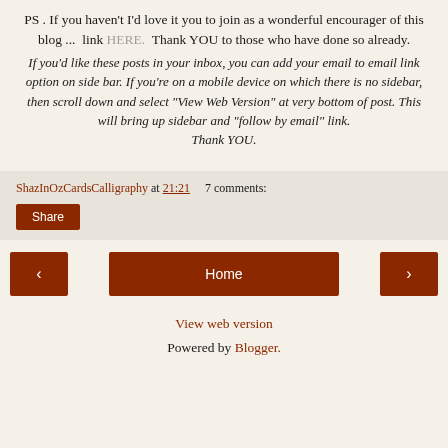PS . If you haven't I'd love it you to join as a wonderful encourager of this blog ...  link HERE.  Thank YOU to those who have done so already.
If you'd like these posts in your inbox, you can add your email to email link option on side bar. If you're on a mobile device on which there is no sidebar, then scroll down and select "View Web Version" at very bottom of post. This will bring up sidebar and "follow by email" link. Thank YOU.
ShazInOzCardsCalligraphy at 21:21     7 comments:
Share
< Home >
View web version
Powered by Blogger.